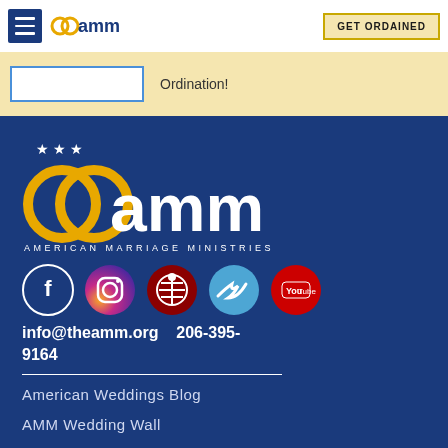AMM - American Marriage Ministries
Ordination!
[Figure (logo): AMM American Marriage Ministries logo with interlocking rings and three stars above, on dark blue background]
[Figure (infographic): Social media icons: Facebook, Instagram, Pinterest, Twitter, YouTube]
info@theamm.org   206-395-9164
American Weddings Blog
AMM Wedding Wall